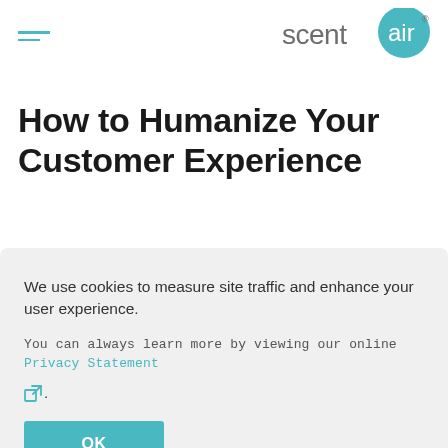[Figure (logo): ScentAir logo: the word 'scent' in gray followed by 'air' in white on a teal circle, with a small trademark symbol]
How to Humanize Your Customer Experience
We use cookies to measure site traffic and enhance your user experience.
You can always learn more by viewing our online Privacy Statement [external link icon].
OK